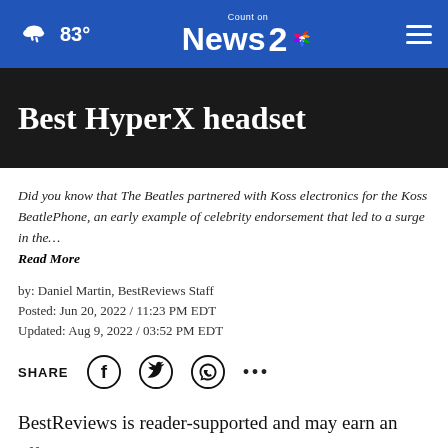83° | Count on News 2 NBC
Best HyperX headset
Did you know that The Beatles partnered with Koss electronics for the Koss BeatlePhone, an early example of celebrity endorsement that led to a surge in the… Read More
by: Daniel Martin, BestReviews Staff
Posted: Jun 20, 2022 / 11:23 PM EDT
Updated: Aug 9, 2022 / 03:52 PM EDT
SHARE
BestReviews is reader-supported and may earn an affiliate commission. Details.